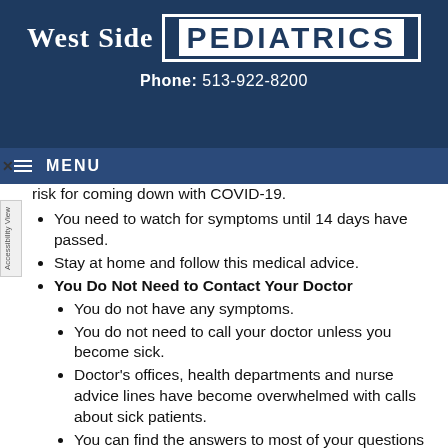West Side Pediatrics | Phone: 513-922-8200
risk for coming down with COVID-19.
You need to watch for symptoms until 14 days have passed.
Stay at home and follow this medical advice.
You Do Not Need to Contact Your Doctor
You do not have any symptoms.
You do not need to call your doctor unless you become sick.
Doctor's offices, health departments and nurse advice lines have become overwhelmed with calls about sick patients.
You can find the answers to most of your questions here or online.
Measure Temperature
Measure your temperature 2 times each day. Do